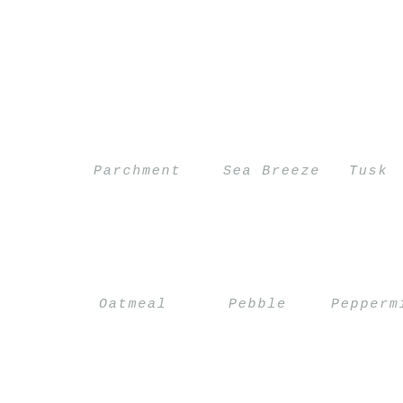Parchment
Sea Breeze
Tusk
Oatmeal
Pebble
Peppermint